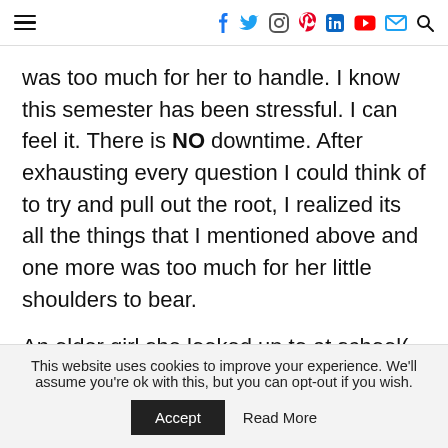≡ [social icons: facebook, twitter, instagram, pinterest, linkedin, youtube, email, search]
was too much for her to handle. I know this semester has been stressful. I can feel it. There is NO downtime. After exhausting every question I could think of to try and pull out the root, I realized its all the things that I mentioned above and one more was too much for her little shoulders to bear.
An older girl she looked up to at school( who is a talented singer) belittled her singing ( which by the way my daughter herself is a great singer, for 7-
This website uses cookies to improve your experience. We'll assume you're ok with this, but you can opt-out if you wish.